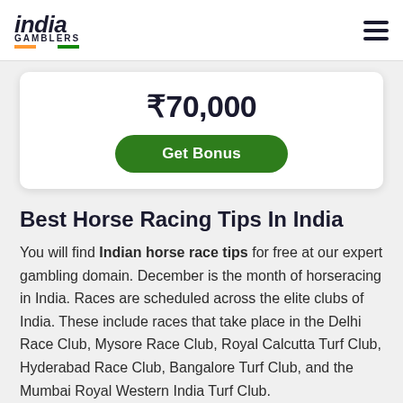india GAMBLERS
₹70,000
Get Bonus
Best Horse Racing Tips In India
You will find Indian horse race tips for free at our expert gambling domain. December is the month of horseracing in India. Races are scheduled across the elite clubs of India. These include races that take place in the Delhi Race Club, Mysore Race Club, Royal Calcutta Turf Club, Hyderabad Race Club, Bangalore Turf Club, and the Mumbai Royal Western India Turf Club.
Our expert free Indian horse racing tips will include an update of the races scheduled. You will find facts about the different horses, their past performance comparing with